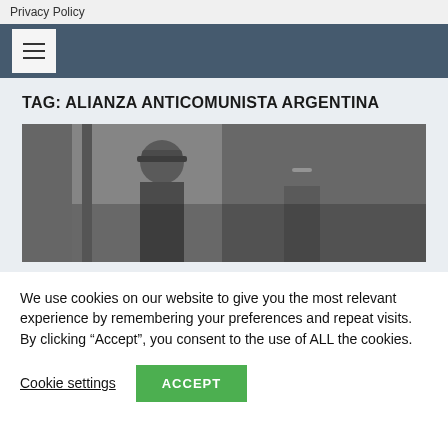Privacy Policy
[Figure (screenshot): Navigation bar with hamburger menu icon on dark blue-grey background]
TAG: ALIANZA ANTICOMUNISTA ARGENTINA
[Figure (photo): Black and white photograph of military officers in uniform, including one saluting, with another man in civilian clothes wearing glasses]
We use cookies on our website to give you the most relevant experience by remembering your preferences and repeat visits. By clicking “Accept”, you consent to the use of ALL the cookies.
Cookie settings
ACCEPT